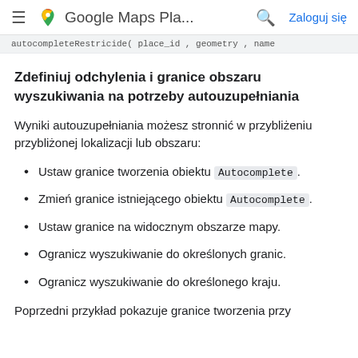Google Maps Pla... Zaloguj się
autocompleteRestricide( place_id , geometry , name
Zdefiniuj odchylenia i granice obszaru wyszukiwania na potrzeby autouzupełniania
Wyniki autouzupełniania możesz stronnić w przybliżeniu przybliżonej lokalizacji lub obszaru:
Ustaw granice tworzenia obiektu Autocomplete.
Zmień granice istniejącego obiektu Autocomplete.
Ustaw granice na widocznym obszarze mapy.
Ogranicz wyszukiwanie do określonych granic.
Ogranicz wyszukiwanie do określonego kraju.
Poprzedni przykład pokazuje granice tworzenia przy